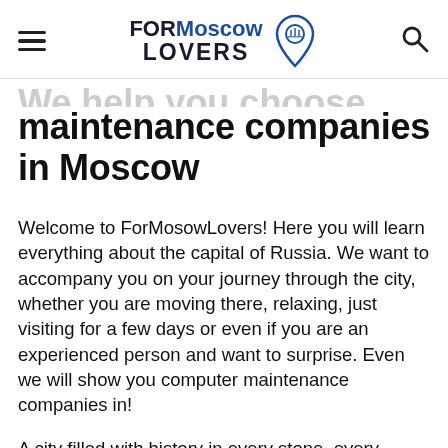FORMoscow LOVERS
We help you choose computer maintenance companies in Moscow
Welcome to ForMosowLovers! Here you will learn everything about the capital of Russia. We want to accompany you on your journey through the city, whether you are moving there, relaxing, just visiting for a few days or even if you are an experienced person and want to surprise. Even we will show you computer maintenance companies in!
A city filled with history in every stone, every corner and every street. We are all familiar with the past of the city and many people visit it every day.
Moscow's greatness is based on its past, and in order for